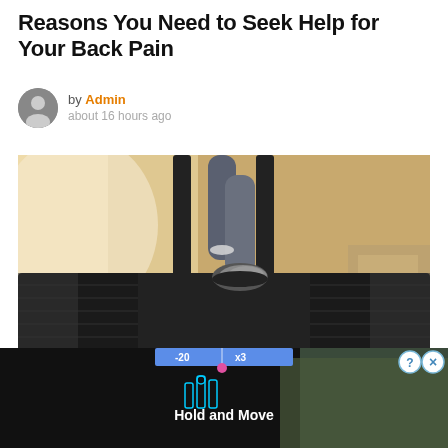Reasons You Need to Seek Help for Your Back Pain
by Admin about 16 hours ago
[Figure (photo): Person's legs running on a treadmill in a gym/rehabilitation setting, viewed from behind and below. The treadmill belt and handles are visible.]
[Figure (screenshot): Advertisement overlay showing a dark background with blue neon bar chart icons, numbers '-20' and 'x3', and text 'Hold and Move'. Close buttons (? and X) appear in top right corner.]